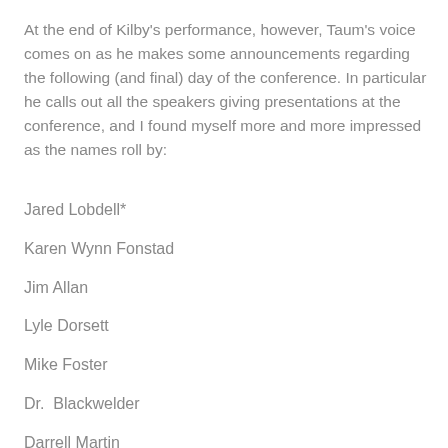At the end of Kilby's performance, however, Taum's voice comes on as he makes some announcements regarding the following (and final) day of the conference. In particular he calls out all the speakers giving presentations at the conference, and I found myself more and more impressed as the names roll by:
Jared Lobdell*
Karen Wynn Fonstad
Jim Allan
Lyle Dorsett
Mike Foster
Dr.  Blackwelder
Darrell Martin